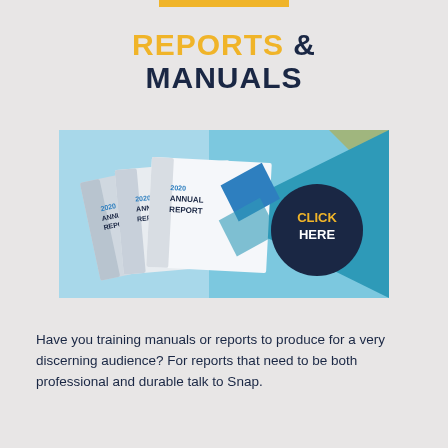REPORTS & MANUALS
[Figure (illustration): Banner image showing stacked 2020 Annual Report booklets on the left against a light blue background, with a dark navy circle on the right containing 'CLICK HERE' text in gold and white, and a gold triangle accent in the upper right corner.]
Have you training manuals or reports to produce for a very discerning audience? For reports that need to be both professional and durable talk to Snap.